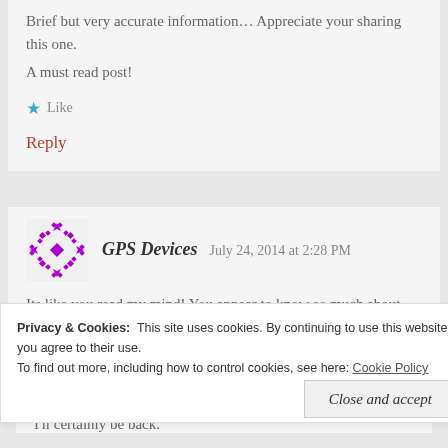Brief but very accurate information… Appreciate your sharing this one. A must read post!
Like
Reply
GPS Devices  July 24, 2014 at 2:28 PM
Its like you read my mind! You appear to know so much about this, like you wrote the book in it or something.
Privacy & Cookies: This site uses cookies. By continuing to use this website, you agree to their use. To find out more, including how to control cookies, see here: Cookie Policy
Close and accept
I'll certainly be back.